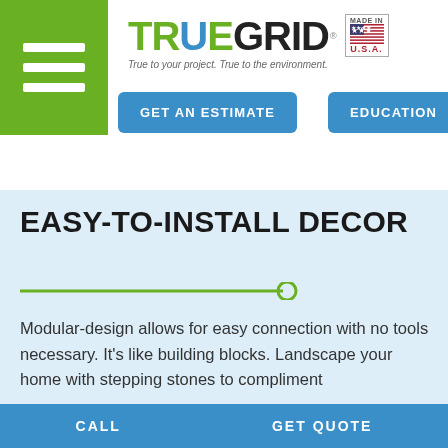[Figure (logo): TrueGrid logo with green TRU, blue drop O, dark EGRID text, tagline 'True to your project. True to the environment.' and Made in USA flag badge]
GET AN ESTIMATE
EDUCATION
EASY-TO-INSTALL DECOR
Modular-design allows for easy connection with no tools necessary. It's like building blocks. Landscape your home with stepping stones to compliment
CALL    GET QUOTE